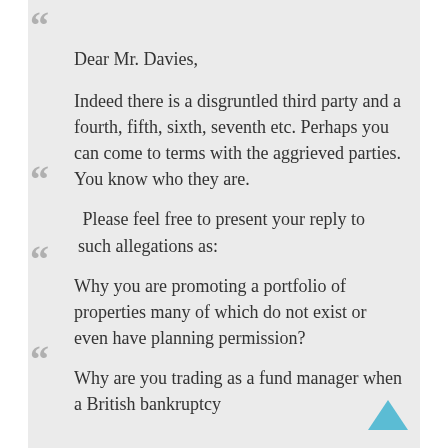Dear Mr. Davies,
Indeed there is a disgruntled third party and a fourth, fifth, sixth, seventh etc. Perhaps you can come to terms with the aggrieved parties. You know who they are.
Please feel free to present your reply to such allegations as:
Why you are promoting a portfolio of properties many of which do not exist or even have planning permission?
Why are you trading as a fund manager when a British bankruptcy